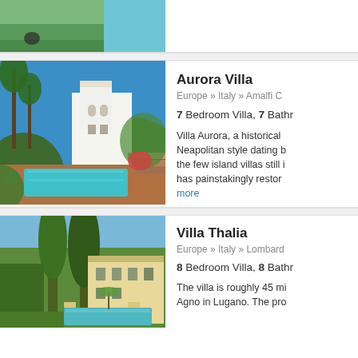[Figure (photo): Top strip: partial view of a garden/pool area with green grass and blue water, cropped at top of page]
[Figure (photo): Aurora Villa - white Neapolitan-style villa with lush tropical gardens, palm trees, terraced pool in foreground, bright blue sky]
Aurora Villa
Europe » Italy » Amalfi C
7 Bedroom Villa, 7 Bathr
Villa Aurora, a historical Neapolitan style dating b the few island villas still i has painstakingly restor more
[Figure (photo): Villa Thalia - large Italian villa with tall cypress and pine trees, manicured gardens, pool visible, warm afternoon light]
Villa Thalia
Europe » Italy » Lombard
8 Bedroom Villa, 8 Bathr
The villa is roughly 45 mi Agno in Lugano. The pro